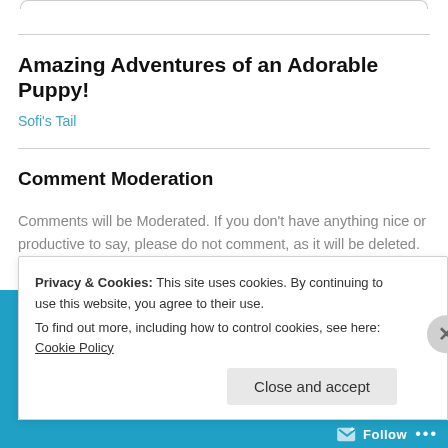Amazing Adventures of an Adorable Puppy!
Sofi's Tail
Comment Moderation
Comments will be Moderated. If you don't have anything nice or productive to say, please do not comment, as it will be deleted. This should be a positive forum!
Privacy & Cookies: This site uses cookies. By continuing to use this website, you agree to their use.
To find out more, including how to control cookies, see here: Cookie Policy
Close and accept
Follow